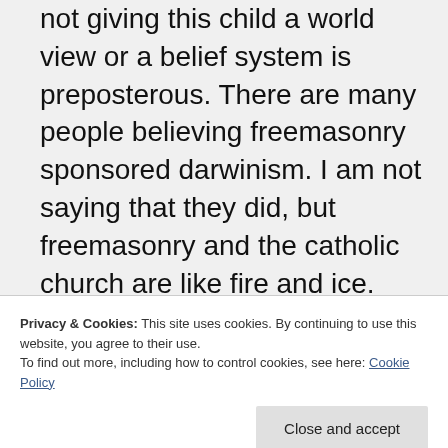not giving this child a world view or a belief system is preposterous. There are many people believing freemasonry sponsored darwinism. I am not saying that they did, but freemasonry and the catholic church are like fire and ice. Freemasonry heavily supported darwinism and thus helped emtying the church (once again, I don't care, although some respect for a creator, a designer is much better im-humble-o. than we are god, we came out of
Privacy & Cookies: This site uses cookies. By continuing to use this website, you agree to their use.
To find out more, including how to control cookies, see here: Cookie Policy
development over millions of years is